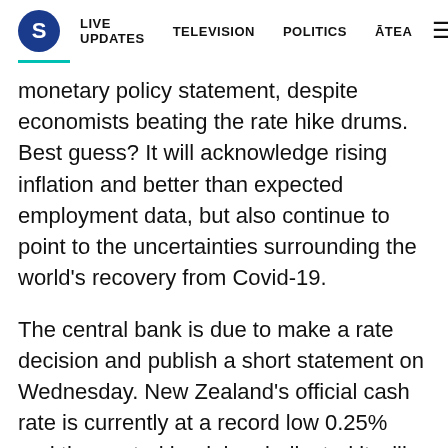S | LIVE UPDATES | TELEVISION | POLITICS | ĀTEA
monetary policy statement, despite economists beating the rate hike drums. Best guess? It will acknowledge rising inflation and better than expected employment data, but also continue to point to the uncertainties surrounding the world's recovery from Covid-19.
The central bank is due to make a rate decision and publish a short statement on Wednesday. New Zealand's official cash rate is currently at a record low 0.25% and the central bank has indicated it will begin lifting rates in September 2022. However, a range of indicators from economic growth to business confidence have come in much stronger than expected when it made that forecast. While